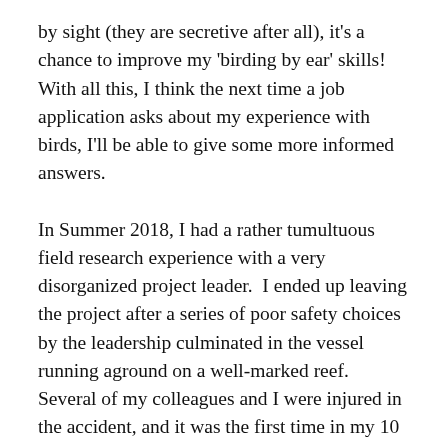by sight (they are secretive after all), it's a chance to improve my 'birding by ear' skills! With all this, I think the next time a job application asks about my experience with birds, I'll be able to give some more informed answers.
In Summer 2018, I had a rather tumultuous field research experience with a very disorganized project leader.  I ended up leaving the project after a series of poor safety choices by the leadership culminated in the vessel running aground on a well-marked reef.  Several of my colleagues and I were injured in the accident, and it was the first time in my 10 year maritime career that I grabbed my emergency bag and seriously thought I might have to abandon ship.  In this case, we made it to shore, and there was a clinic nearby where we got treated, but what if there hadn't been?  The more I reflected on what happened, the more I realized how bad the